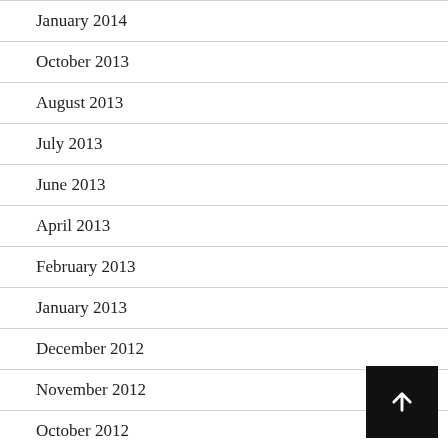January 2014
October 2013
August 2013
July 2013
June 2013
April 2013
February 2013
January 2013
December 2012
November 2012
October 2012